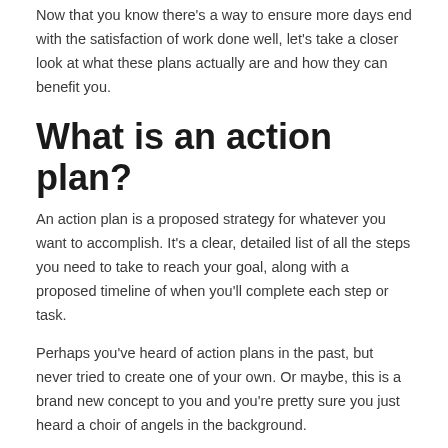Now that you know there's a way to ensure more days end with the satisfaction of work done well, let's take a closer look at what these plans actually are and how they can benefit you.
What is an action plan?
An action plan is a proposed strategy for whatever you want to accomplish. It's a clear, detailed list of all the steps you need to take to reach your goal, along with a proposed timeline of when you'll complete each step or task.
Perhaps you've heard of action plans in the past, but never tried to create one of your own. Or maybe, this is a brand new concept to you and you're pretty sure you just heard a choir of angels in the background.
What is the purpose of an action plan?